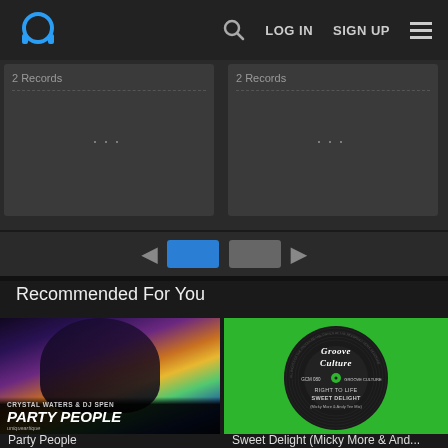LOG IN   SIGN UP
[Figure (screenshot): Partially visible cards showing '2 Records' labels with ellipsis menus]
[Figure (infographic): Pagination controls with left arrow, active blue button, inactive grey button, right arrow]
Recommended For You
[Figure (photo): Party People album cover by Crystal Waters & DJ Spen - colorful background with artist in dark clothing]
[Figure (photo): Groove Culture vinyl record label on green background showing RIGHT TO LIFE / SWEET DELIGHT (Micky More & Andy Tee Mix), GCM 080]
Party People
Sweet Delight (Micky More & And...